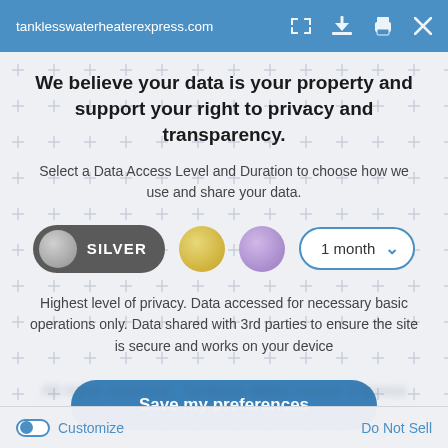tanklesswaterheaterexpress.com
We believe your data is your property and support your right to privacy and transparency.
Select a Data Access Level and Duration to choose how we use and share your data.
[Figure (infographic): Three data level selector circles (Silver toggle selected, Gold circle, Purple circle) and a 1 month dropdown selector]
Highest level of privacy. Data accessed for necessary basic operations only. Data shared with 3rd parties to ensure the site is secure and works on your device
Save my preferences
Customize   Do Not Sell